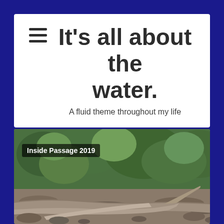It's all about the water.
A fluid theme throughout my life
[Figure (photo): Outdoor photograph showing weathered driftwood logs arranged on rocky ground with green shrubs and trees in the background. A label overlay reads 'Inside Passage 2019'.]
Inside Passage 2019